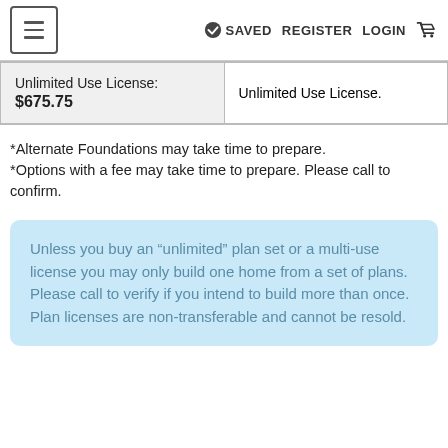≡  ✓ SAVED  REGISTER  LOGIN  🛒
| Unlimited Use License:
$675.75 | Unlimited Use License. |
*Alternate Foundations may take time to prepare.
*Options with a fee may take time to prepare. Please call to confirm.
Unless you buy an “unlimited” plan set or a multi-use license you may only build one home from a set of plans. Please call to verify if you intend to build more than once. Plan licenses are non-transferable and cannot be resold.